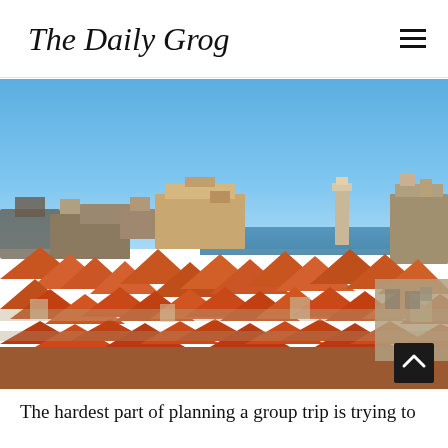The Daily Grog
[Figure (photo): Aerial panoramic view of Dubrovnik old town, Croatia, showing terracotta rooftops, historic stone buildings, city walls, and the Adriatic Sea under a clear blue sky.]
The hardest part of planning a group trip is trying to